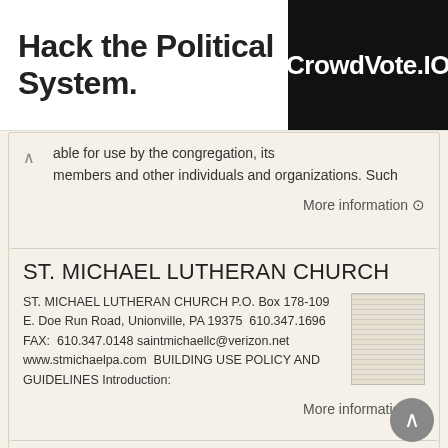[Figure (screenshot): Advertisement banner: 'Hack the Political System.' text on left, CrowdVote.IO logo on black background on right]
able for use by the congregation, its members and other individuals and organizations. Such
More information →
ST. MICHAEL LUTHERAN CHURCH
ST. MICHAEL LUTHERAN CHURCH P.O. Box 178-109 E. Doe Run Road, Unionville, PA 19375 610.347.1696 FAX: 610.347.0148 saintmichaellc@verizon.net www.stmichaelpa.com BUILDING USE POLICY AND GUIDELINES Introduction:
More information →
Cornerstone EPC Facilities Use Agreement
Revised...